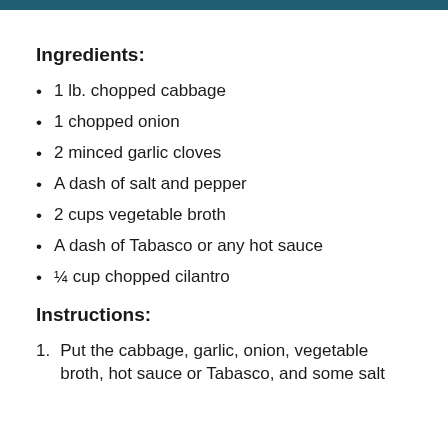Ingredients:
1 lb. chopped cabbage
1 chopped onion
2 minced garlic cloves
A dash of salt and pepper
2 cups vegetable broth
A dash of Tabasco or any hot sauce
¼ cup chopped cilantro
Instructions:
Put the cabbage, garlic, onion, vegetable broth, hot sauce or Tabasco, and some salt